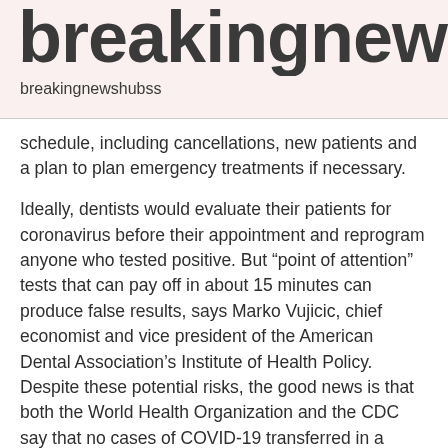breakingnewshu
breakingnewshubss
schedule, including cancellations, new patients and a plan to plan emergency treatments if necessary.
Ideally, dentists would evaluate their patients for coronavirus before their appointment and reprogram anyone who tested positive. But “point of attention” tests that can pay off in about 15 minutes can produce false results, says Marko Vujicic, chief economist and vice president of the American Dental Association’s Institute of Health Policy. Despite these potential risks, the good news is that both the World Health Organization and the CDC say that no cases of COVID-19 transferred in a dental practice have been confirmed so far.
“Chokka says he seriously questions the competence of a